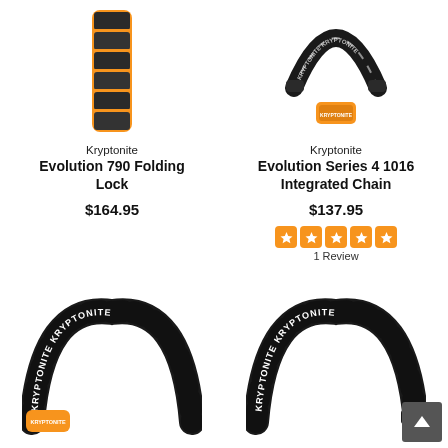[Figure (photo): Kryptonite Evolution 790 Folding Lock - black and orange folding bike lock]
Kryptonite
Evolution 790 Folding Lock
$164.95
[Figure (photo): Kryptonite Evolution Series 4 1016 Integrated Chain - black chain with orange lock head]
Kryptonite
Evolution Series 4 1016 Integrated Chain
$137.95
[Figure (other): 5 orange stars rating]
1 Review
[Figure (photo): Kryptonite chain lock - black chain with KRYPTONITE branding and orange lock]
[Figure (photo): Kryptonite chain lock - black chain with KRYPTONITE branding, similar style]